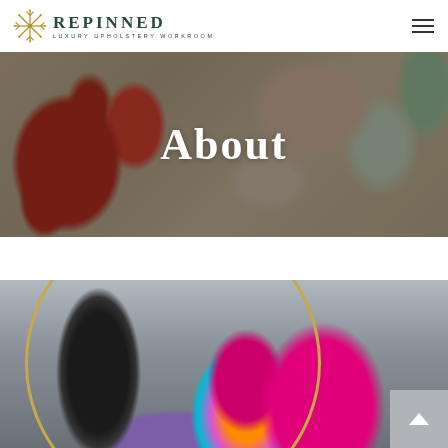[Figure (logo): Repinned Luxury Upholstery Workroom logo with snowflake/asterisk icon and text]
[Figure (photo): Hero banner with floral fabric background in reds, greens, and cream tones]
About
[Figure (photo): Workshop photo showing a sewing machine and a bright pink upholstered chair with colorful patterned pillow, framed within a gold circular border]